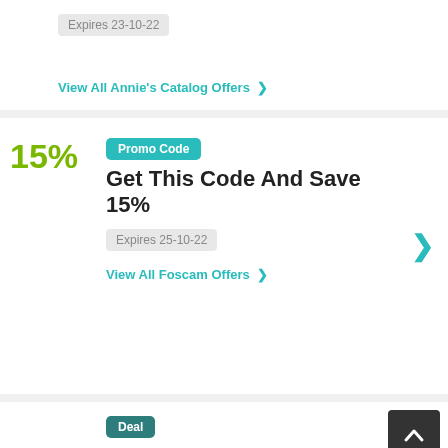Expires 23-10-22
View All Annie's Catalog Offers >
Promo Code
Get This Code And Save 15%
Expires 25-10-22
View All Foscam Offers >
Deal
KLM Always Offering You The Lowest Airfare Around
Sales